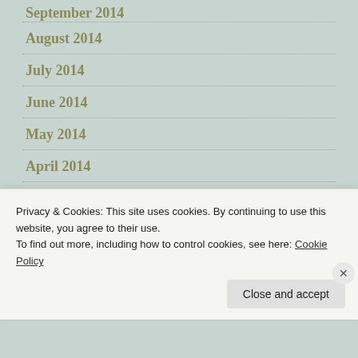September 2014
August 2014
July 2014
June 2014
May 2014
April 2014
March 2014
February 2014
Privacy & Cookies: This site uses cookies. By continuing to use this website, you agree to their use.
To find out more, including how to control cookies, see here: Cookie Policy